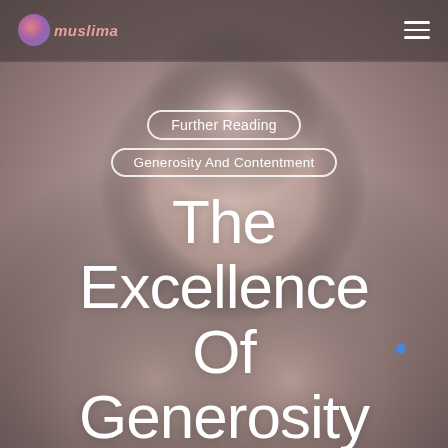[Figure (photo): Background photo of hands holding a pink gift box with ribbon, blurred/bokeh effect, muted warm gray-pink tones. Website header with logo and hamburger menu visible at top.]
muslima [logo]
Further Reading
Generosity And Contentment
The Excellence Of Generosity
By Ibrahim Isa  |  August 31, 2017
| No Comments